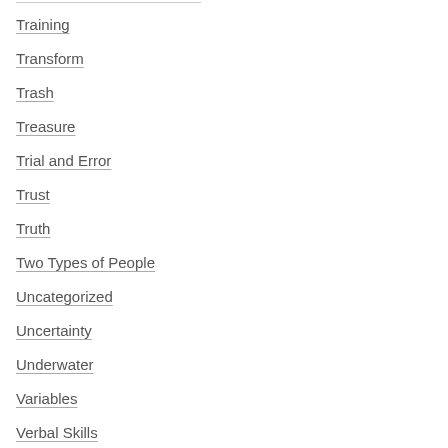Training
Transform
Trash
Treasure
Trial and Error
Trust
Truth
Two Types of People
Uncategorized
Uncertainty
Underwater
Variables
Verbal Skills